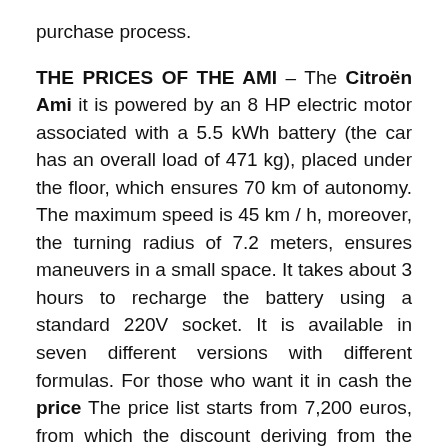purchase process.
THE PRICES OF THE AMI – The Citroën Ami it is powered by an 8 HP electric motor associated with a 5.5 kWh battery (the car has an overall load of 471 kg), placed under the floor, which ensures 70 km of autonomy. The maximum speed is 45 km / h, moreover, the turning radius of 7.2 meters, ensures maneuvers in a small space. It takes about 3 hours to recharge the battery using a standard 220V socket. It is available in seven different versions with different formulas. For those who want it in cash the price The price list starts from 7,200 euros, from which the discount deriving from the 2021 state incentive must be subtracted, which brings the total down to 5,731 euros, without